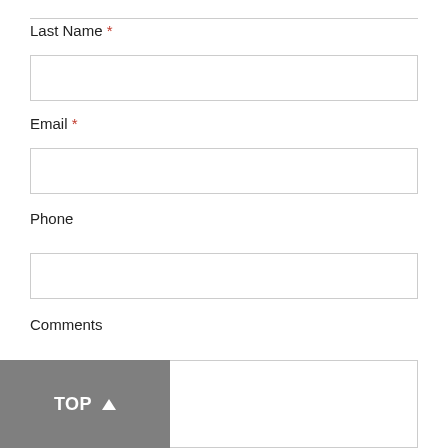Last Name *
Email *
Phone
Comments
TOP ↑